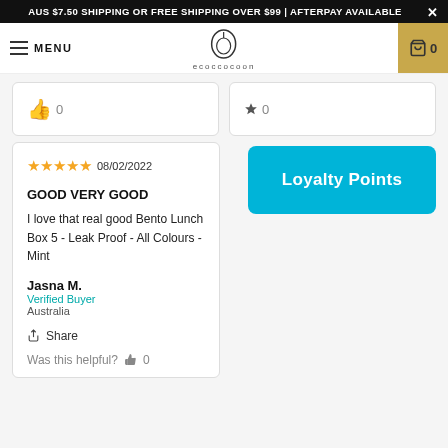AUS $7.50 SHIPPING OR FREE SHIPPING OVER $99 | AFTERPAY AVAILABLE ×
MENU | ecoccocoon logo | 🛒 0
08/02/2022
GOOD VERY GOOD
I love that real good Bento Lunch Box 5 - Leak Proof - All Colours - Mint
Jasna M.
Verified Buyer
Australia
Share
Was this helpful? 👍 0
Loyalty Points